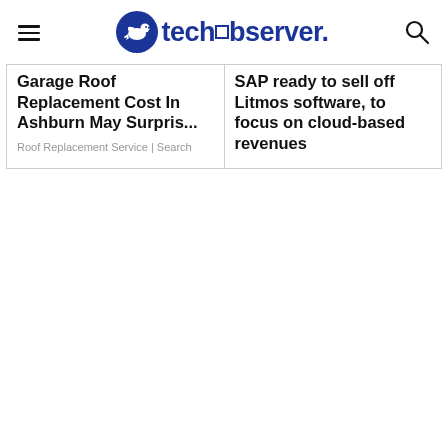techobserver.
Garage Roof Replacement Cost In Ashburn May Surpris...
Roof Replacement Service | Search
SAP ready to sell off Litmos software, to focus on cloud-based revenues